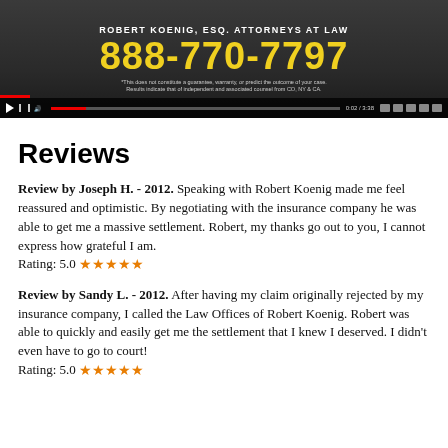[Figure (screenshot): Video player banner for Robert Koenig, Esq. Attorneys at Law showing phone number 888-770-7797 in large yellow text on dark background, with video controls at the bottom.]
Reviews
Review by Joseph H. - 2012. Speaking with Robert Koenig made me feel reassured and optimistic. By negotiating with the insurance company he was able to get me a massive settlement. Robert, my thanks go out to you, I cannot express how grateful I am. Rating: 5.0 ★★★★★
Review by Sandy L. - 2012. After having my claim originally rejected by my insurance company, I called the Law Offices of Robert Koenig. Robert was able to quickly and easily get me the settlement that I knew I deserved. I didn't even have to go to court! Rating: 5.0 ★★★★★